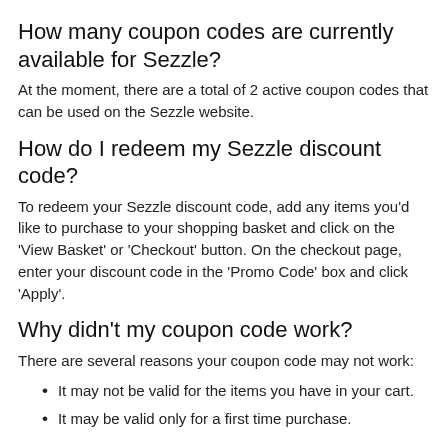How many coupon codes are currently available for Sezzle?
At the moment, there are a total of 2 active coupon codes that can be used on the Sezzle website.
How do I redeem my Sezzle discount code?
To redeem your Sezzle discount code, add any items you'd like to purchase to your shopping basket and click on the 'View Basket' or 'Checkout' button. On the checkout page, enter your discount code in the 'Promo Code' box and click 'Apply'.
Why didn't my coupon code work?
There are several reasons your coupon code may not work:
It may not be valid for the items you have in your cart.
It may be valid only for a first time purchase.